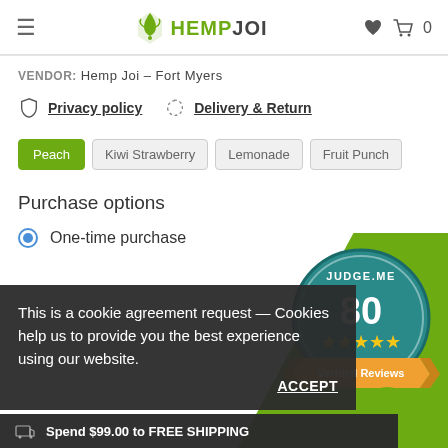HEMP JOI — Navigation header with hamburger menu, logo, heart icon, cart icon, 0
VENDOR: Hemp Joi – Fort Myers
Privacy policy   Delivery & Return
Peach
Kiwi Strawberry
Lemonade
Fruit Punch
Purchase options
One-time purchase
This is a cookie agreement request — Cookies help us to provide you the best experience using our website.
ACCEPT
Spend $99.00 to FREE SHIPPING
[Figure (illustration): Judge.me badge showing 80 Verified Reviews with 5 gold stars on a teal circular badge with green ribbon background]